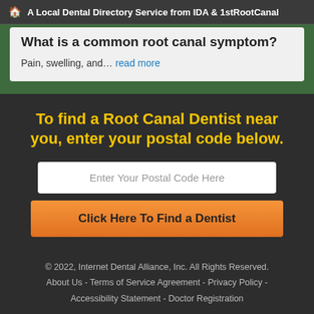🏠 A Local Dental Directory Service from IDA & 1stRootCanal
What is a common root canal symptom?
Pain, swelling, and… read more
To find a Root Canal Dentist near you, enter your postal code below.
Enter Your Postal Code Here
Click Here To Find a Dentist
© 2022, Internet Dental Alliance, Inc. All Rights Reserved.
About Us - Terms of Service Agreement - Privacy Policy - Accessibility Statement - Doctor Registration